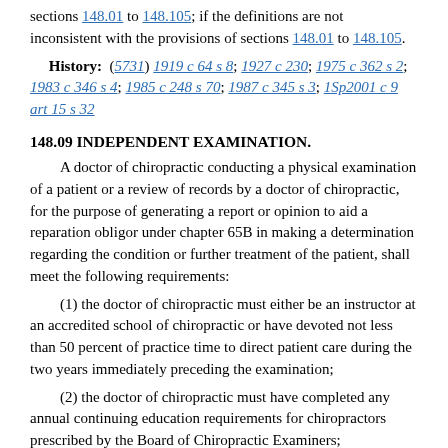sections 148.01 to 148.105; if the definitions are not inconsistent with the provisions of sections 148.01 to 148.105.
History: (5731) 1919 c 64 s 8; 1927 c 230; 1975 c 362 s 2; 1983 c 346 s 4; 1985 c 248 s 70; 1987 c 345 s 3; 1Sp2001 c 9 art 15 s 32
148.09 INDEPENDENT EXAMINATION.
A doctor of chiropractic conducting a physical examination of a patient or a review of records by a doctor of chiropractic, for the purpose of generating a report or opinion to aid a reparation obligor under chapter 65B in making a determination regarding the condition or further treatment of the patient, shall meet the following requirements:
(1) the doctor of chiropractic must either be an instructor at an accredited school of chiropractic or have devoted not less than 50 percent of practice time to direct patient care during the two years immediately preceding the examination;
(2) the doctor of chiropractic must have completed any annual continuing education requirements for chiropractors prescribed by the Board of Chiropractic Examiners;
(3) the doctor of chiropractic must not perform...